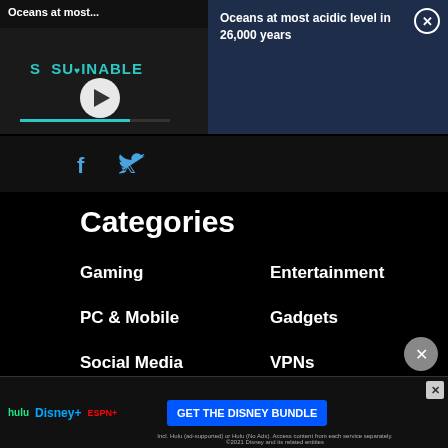[Figure (screenshot): Video player thumbnail showing 'Oceans at most...' title with a Sustainable logo and play button, and a progress bar at the bottom]
Oceans at most acidic level in 26,000 years
[Figure (screenshot): Facebook and Twitter social media icons in blue]
Categories
Gaming
Entertainment
PC & Mobile
Gadgets
Social Media
VPNs
Internet
[Figure (screenshot): Advertisement banner for Disney Bundle featuring Hulu, Disney+, ESPN+ logos and GET THE DISNEY BUNDLE CTA button]